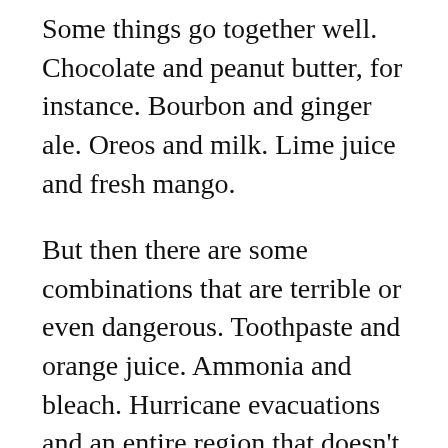Some things go together well. Chocolate and peanut butter, for instance. Bourbon and ginger ale. Oreos and milk. Lime juice and fresh mango.
But then there are some combinations that are terrible or even dangerous. Toothpaste and orange juice. Ammonia and bleach. Hurricane evacuations and an entire region that doesn't seem to believe COVID actually exists.
I am so depleted from the past 18 months of COVID, to say nothing of the recent and sudden death of my mother, that I truly didn't think I had the mental reserves to evacuate for